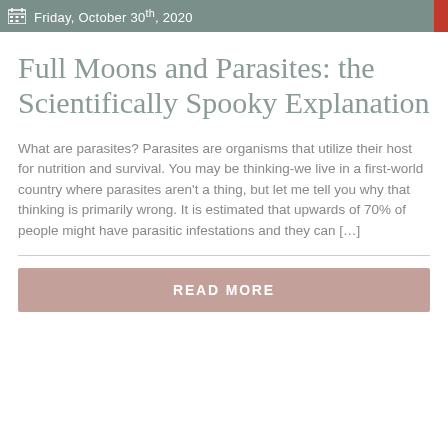Friday, October 30th, 2020
Full Moons and Parasites: the Scientifically Spooky Explanation
What are parasites? Parasites are organisms that utilize their host for nutrition and survival. You may be thinking-we live in a first-world country where parasites aren't a thing, but let me tell you why that thinking is primarily wrong. It is estimated that upwards of 70% of people might have parasitic infestations and they can […]